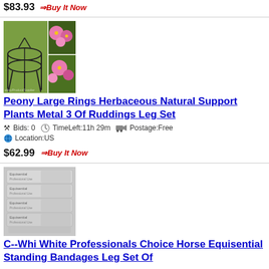$83.93  ⇒Buy It Now
[Figure (photo): Product image of peony ring plant support with flowers]
Peony Large Rings Herbaceous Natural Support Plants Metal 3 Of Ruddings Leg Set
Bids: 0  TimeLeft:11h 29m  Postage:Free  Location:US
$62.99  ⇒Buy It Now
[Figure (photo): Product image of white horse standing bandages stacked]
C--Whi White Professionals Choice Horse Equisential Standing Bandages Leg Set Of